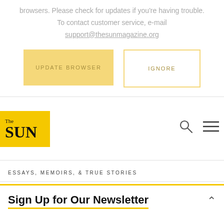browsers. Please check for updates if you're having trouble. To contact customer service, e-mail support@thesunmagazine.org
[Figure (screenshot): Two buttons: 'UPDATE BROWSER' (yellow filled) and 'IGNORE' (yellow outlined)]
[Figure (logo): The Sun magazine logo - yellow rectangle with 'The' in small serif and 'SUN' in large bold serif]
[Figure (other): Search icon (magnifying glass) and hamburger menu icon]
ESSAYS, MEMOIRS, & TRUE STORIES
Sign Up for Our Newsletter